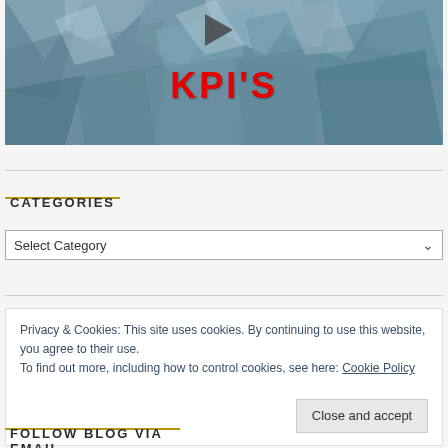[Figure (screenshot): Video thumbnail with blue-grey abstract shattered paper/leaves background, play button triangle at top center, red bold text 'KPI'S' overlaid]
CATEGORIES
Select Category
Privacy & Cookies: This site uses cookies. By continuing to use this website, you agree to their use.
To find out more, including how to control cookies, see here: Cookie Policy
Close and accept
FOLLOW BLOG VIA EMAIL